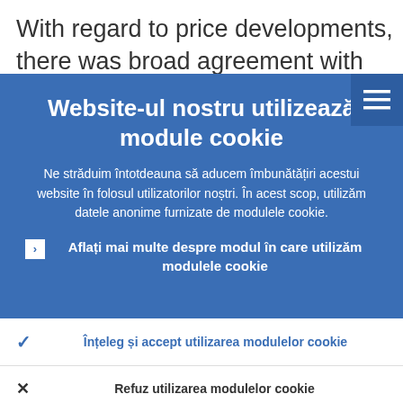With regard to price developments, there was broad agreement with the assessme
Website-ul nostru utilizează module cookie
Ne străduim întotdeauna să aducem îmbunătățiri acestui website în folosul utilizatorilor noștri. În acest scop, utilizăm datele anonime furnizate de modulele cookie.
Aflați mai multe despre modul în care utilizăm modulele cookie
Înțeleg și accept utilizarea modulelor cookie
Refuz utilizarea modulelor cookie